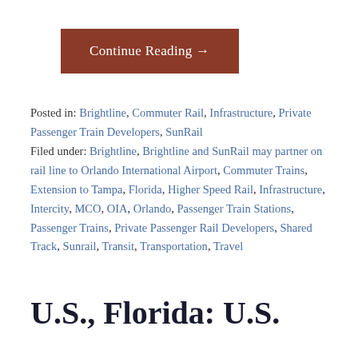Continue Reading →
Posted in: Brightline, Commuter Rail, Infrastructure, Private Passenger Train Developers, SunRail
Filed under: Brightline, Brightline and SunRail may partner on rail line to Orlando International Airport, Commuter Trains, Extension to Tampa, Florida, Higher Speed Rail, Infrastructure, Intercity, MCO, OIA, Orlando, Passenger Train Stations, Passenger Trains, Private Passenger Rail Developers, Shared Track, Sunrail, Transit, Transportation, Travel
U.S., Florida: U.S.